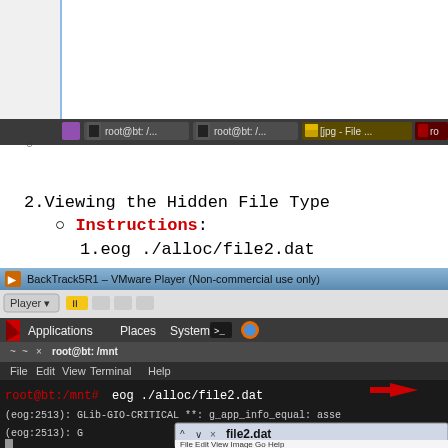[Figure (screenshot): Top portion of a document page showing a white content area with a taskbar at bottom showing multiple terminal and file manager windows: 'root@bt: /...', 'root@bt: /...', '[jpg - File ...', 'ro...']
○
2. Viewing the Hidden File Type
  ○ Instructions:
    1. eog ./alloc/file2.dat
[Figure (screenshot): BackTrack5R1 VMware Player terminal window showing command: root@bt:/mnt# eog ./alloc/file2.dat with a red arrow pointing to the command, error output (eog:2513): GLib-GIO-CRITICAL **: g_app_info_equal: asse, and a file2.dat image viewer window opening with File Edit View Image Go Help menu bar.]